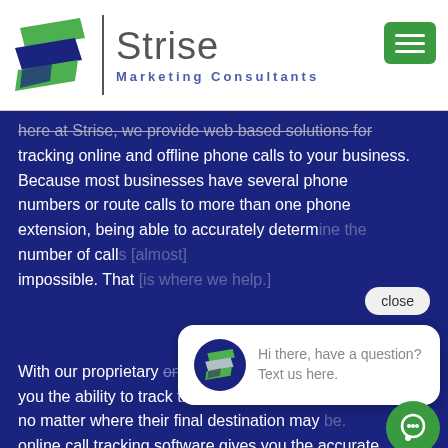[Figure (logo): Strise Marketing Consultants logo with stacked green and navy blue layered shapes icon, vertical divider, brand name 'Strise' in gray and 'Marketing Consultants' in blue, plus green hamburger menu button]
here at Strise, we provide web based solutions for tracking online and offline phone calls to your business. Because most businesses have several phone numbers or route calls to more than one phone extension, being able to accurately determine the number of calls [is almost] impossible. That [is where we come in.]
[Figure (other): Chat popup bubble with Strise logo icon and text 'Hi there, have a question? Text us here.' with a close button and green chat button]
With our proprietary online call tracking system, we give you the ability to track the sources of your phone calls, no matter where their final destination may be. [Our] online call tracking software gives you the accurate